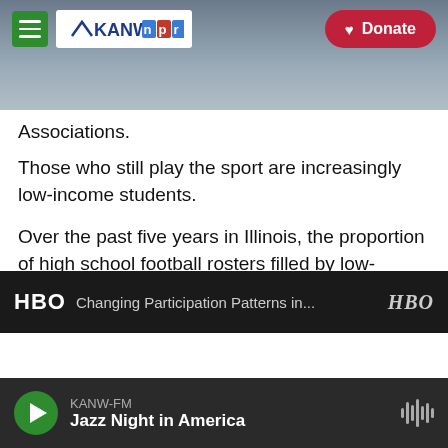[Figure (screenshot): KANW NPR radio website header with hamburger menu, KANW NPR logo, mountain background photo, and red Donate button]
Associations.
Those who still play the sport are increasingly low-income students.
Over the past five years in Illinois, the proportion of high school football rosters filled by low-income boys rose nearly 25 percent – even as the number of players in the state has fallen by 14.8 percent over the same period, according to a story out this week from HBO's Real Sports.
[Figure (screenshot): HBO logo and partial text 'Changing Participation Patterns in...' with HBO logo on right, dark background]
KANW-FM  Jazz Night in America